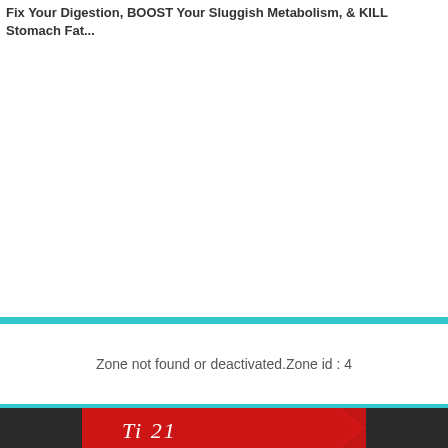Fix Your Digestion, BOOST Your Sluggish Metabolism, & KILL Stomach Fat...
Zone not found or deactivated.Zone id : 4
[Figure (illustration): Partial view of a red banner/graphic with white italic text partially visible at the bottom of the page, on a dark background]